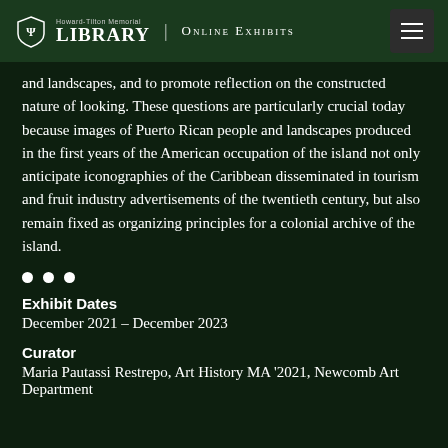Howard-Tilton Memorial Library | Online Exhibits
and landscapes, and to promote reflection on the constructed nature of looking. These questions are particularly crucial today because images of Puerto Rican people and landscapes produced in the first years of the American occupation of the island not only anticipate iconographies of the Caribbean disseminated in tourism and fruit industry advertisements of the twentieth century, but also remain fixed as organizing principles for a colonial archive of the island.
Exhibit Dates
December 2021 – December 2023
Curator
Maria Pautassi Restrepo, Art History MA '2021, Newcomb Art Department